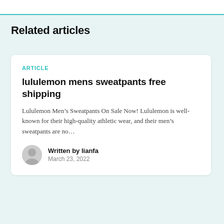Related articles
ARTICLE
lululemon mens sweatpants free shipping
Lululemon Men’s Sweatpants On Sale Now! Lululemon is well-known for their high-quality athletic wear, and their men’s sweatpants are no…
Written by lianfa
March 23, 2022